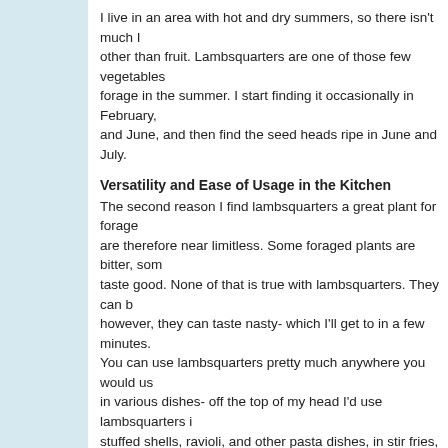I live in an area with hot and dry summers, so there isn't much I can forage other than fruit. Lambsquarters are one of those few vegetables I can forage in the summer. I start finding it occasionally in February, and June, and then find the seed heads ripe in June and July.
Versatility and Ease of Usage in the Kitchen
The second reason I find lambsquarters a great plant for forage are therefore near limitless. Some foraged plants are bitter, some taste good. None of that is true with lambsquarters. They can be however, they can taste nasty- which I'll get to in a few minutes. You can use lambsquarters pretty much anywhere you would use in various dishes- off the top of my head I'd use lambsquarters in stuffed shells, ravioli, and other pasta dishes, in stir fries, in paneer (Indian spinach curry), etc...
You can even use it in sweet foods- I've put them in green smoothies, try them in this ice cream recipe in place of the spinach, in this In short- any recipe you find for spinach, just substitute lambsquarters. Just strip the leaves off the stem and use them as is- the very tender when cooked, but the rest of the stem is too tough.
Lambsquarters Instead of Quinoa
Remember I said before that lambsquarters is related to quinoa. Well, it can be used similarly to quinoa as well!.